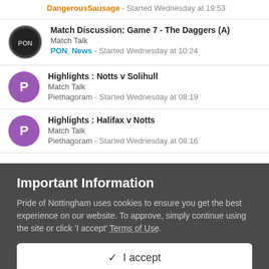DangerousSausage - Started Wednesday at 19:53
Match Discussion: Game 7 - The Daggers (A) | Match Talk | PON_News - Started Wednesday at 10:24
Highlights : Notts v Solihull | Match Talk | Piethagoram - Started Wednesday at 08:19
Highlights : Halifax v Notts | Match Talk | Piethagoram - Started Wednesday at 08:16
Important Information
Pride of Nottingham uses cookies to ensure you get the best experience on our website. To approve, simply continue using the site or click 'I accept' Terms of Use.
✓  I accept